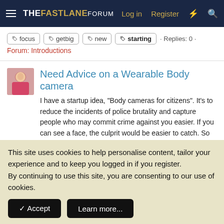THE FASTLANE FORUM — Log in | Register
focus · getbig · new · starting · Replies: 0 · Forum: Introductions
Need Advice on a Wearable Body camera
I have a startup idea, "Body cameras for citizens". It's to reduce the incidents of police brutality and capture people who may commit crime against you easier. If you can see a face, the culprit would be easier to catch. So it's like a wearable security camera. My issues are 1. I know nothing...
This site uses cookies to help personalise content, tailor your experience and to keep you logged in if you register.
By continuing to use this site, you are consenting to our use of cookies.